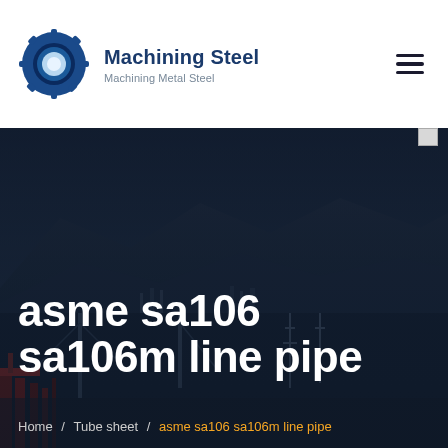Machining Steel — Machining Metal Steel
[Figure (photo): Dark hero banner photo showing an industrial port or bridge scene at dusk with mountains in the background and red industrial machinery/cranes in the foreground, overlaid with the page title text]
asme sa106 sa106m line pipe
Home / Tube sheet / asme sa106 sa106m line pipe